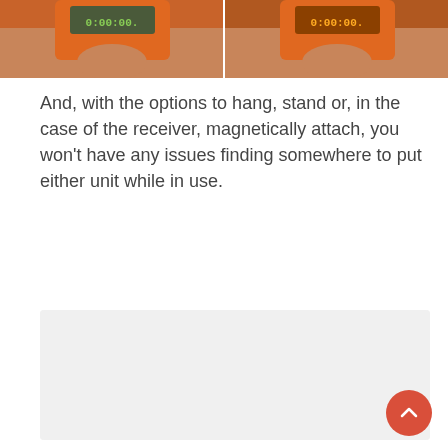[Figure (photo): Two side-by-side close-up photos of orange handheld timer devices held in hands, both displaying 0:00:00 on their screens. The left device has a green/dark screen and the right device has an orange/amber screen.]
And, with the options to hang, stand or, in the case of the receiver, magnetically attach, you won't have any issues finding somewhere to put either unit while in use.
[Figure (photo): A light gray rectangular placeholder image area.]